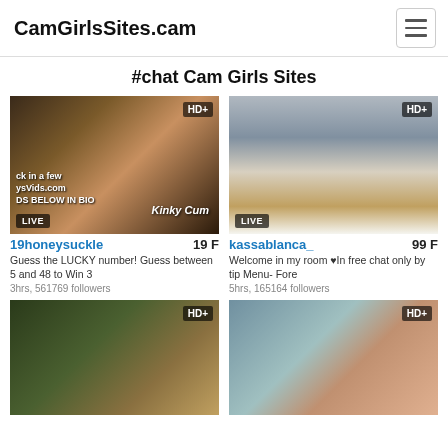CamGirlsSites.cam
#chat Cam Girls Sites
[Figure (screenshot): Live webcam thumbnail labeled LIVE and HD+ showing Kinky Cum stream]
19honeysuckle 19 F
Guess the LUCKY number! Guess between 5 and 48 to Win 3
3hrs, 561769 followers
[Figure (screenshot): Live webcam thumbnail labeled LIVE and HD+ showing bedroom with pillows]
kassablanca_ 99 F
Welcome in my room ♥In free chat only by tip Menu- Fore
5hrs, 165164 followers
[Figure (screenshot): Partial live webcam thumbnail HD+ showing outdoor/nature background with woman]
[Figure (screenshot): Partial live webcam thumbnail HD+ showing woman with light hair smiling]